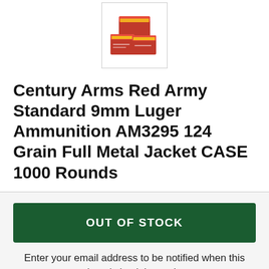[Figure (photo): Product photo of Century Arms Red Army Standard 9mm Luger Ammunition boxes (red and gold packaging) shown in a white bordered thumbnail image.]
Century Arms Red Army Standard 9mm Luger Ammunition AM3295 124 Grain Full Metal Jacket CASE 1000 Rounds
OUT OF STOCK
Enter your email address to be notified when this item is back in stock.
Email Address
Notify Me